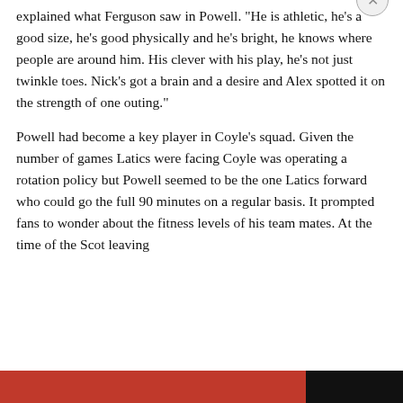explained what Ferguson saw in Powell. "He is athletic, he's a good size, he's good physically and he's bright, he knows where people are around him. His clever with his play, he's not just twinkle toes. Nick's got a brain and a desire and Alex spotted it on the strength of one outing."
Powell had become a key player in Coyle's squad. Given the number of games Latics were facing Coyle was operating a rotation policy but Powell seemed to be the one Latics forward who could go the full 90 minutes on a regular basis. It prompted fans to wonder about the fitness levels of his team mates. At the time of the Scot leaving...
Privacy & Cookies: This site uses cookies. By continuing to use this website, you agree to their use.
To find out more, including how to control cookies, see here: Cookie Policy